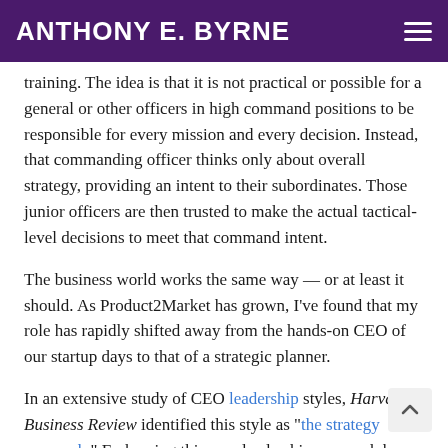ANTHONY E. BYRNE
training. The idea is that it is not practical or possible for a general or other officers in high command positions to be responsible for every mission and every decision. Instead, that commanding officer thinks only about overall strategy, providing an intent to their subordinates. Those junior officers are then trusted to make the actual tactical-level decisions to meet that command intent.
The business world works the same way — or at least it should. As Product2Market has grown, I've found that my role has rapidly shifted away from the hands-on CEO of our startup days to that of a strategic planner.
In an extensive study of CEO leadership styles, Harvard Business Review identified this style as "the strategy approach." Embracing this new leadership approach has been a bit of a tough change for me because I so enjoy being immersed in the day-to-day operation of the business, but from an organisational standpoint, it would be disastrous for the company if I didn't embrace my new